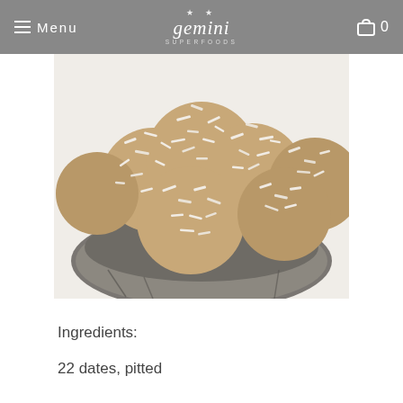Menu  gemini SUPERFOODS  0
[Figure (photo): Coconut-covered energy balls/date balls piled in a grey coconut shell bowl, viewed from above at an angle. The balls are brown and coated in white shredded coconut.]
Ingredients:
22 dates, pitted